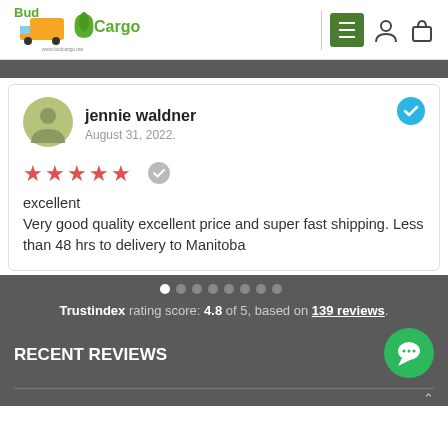[Figure (logo): BudCargo logo with truck and cannabis leaf graphics, green text]
[Figure (screenshot): Navigation icons: hamburger menu in green box, person icon, bag icon]
[Figure (infographic): Reviewer avatar circle with person silhouette]
jennie waldner
August 31, 2022.
[Figure (infographic): Blue verified checkmark circle]
[Figure (infographic): 5 red stars rating with gray verified badge]
excellent
Very good quality excellent price and super fast shipping. Less than 48 hrs to delivery to Manitoba
[Figure (infographic): Carousel dots: 8 dots, first one white/active, rest gray]
Trustindex rating score: 4.8 of 5, based on 139 reviews.
RECENT REVIEWS
[Figure (infographic): Green chat button circle with speech bubble icon]